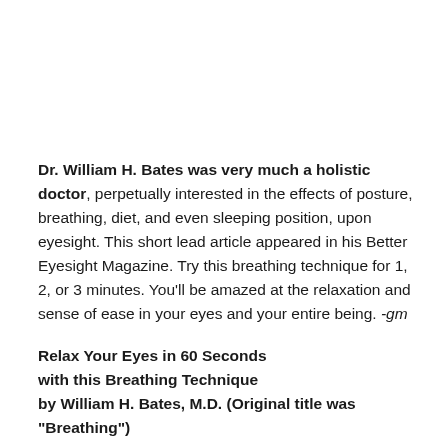Dr. William H. Bates was very much a holistic doctor, perpetually interested in the effects of posture, breathing, diet, and even sleeping position, upon eyesight. This short lead article appeared in his Better Eyesight Magazine. Try this breathing technique for 1, 2, or 3 minutes. You'll be amazed at the relaxation and sense of ease in your eyes and your entire being. -gm
Relax Your Eyes in 60 Seconds with this Breathing Technique by William H. Bates, M.D. (Original title was "Breathing")
MA...